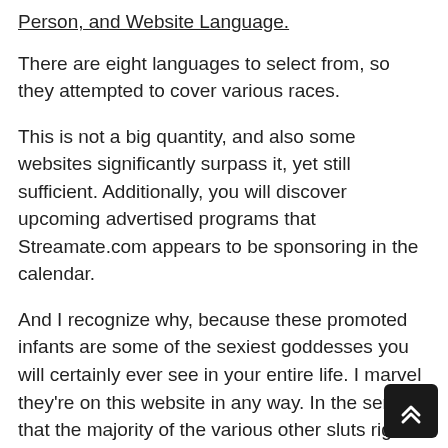Person, and Website Language.
There are eight languages to select from, so they attempted to cover various races.
This is not a big quantity, and also some websites significantly surpass it, yet still sufficient. Additionally, you will discover upcoming advertised programs that Streamate.com appears to be sponsoring in the calendar.
And I recognize why, because these promoted infants are some of the sexiest goddesses you will certainly ever see in your entire life. I marvel they're on this website in any way. In the sense that the majority of the various other sluts right here can't even come close to the level of these babes.
Seriously, these are true works of art. Benefit from fresh flesh and also delight in inexperienced cam